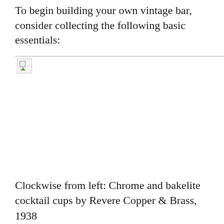To begin building your own vintage bar, consider collecting the following basic essentials:
[Figure (photo): Broken/missing image placeholder showing a small icon with a green triangle, bordered at the top with a light gray line. The image did not load.]
Clockwise from left: Chrome and bakelite cocktail cups by Revere Copper & Brass, 1938